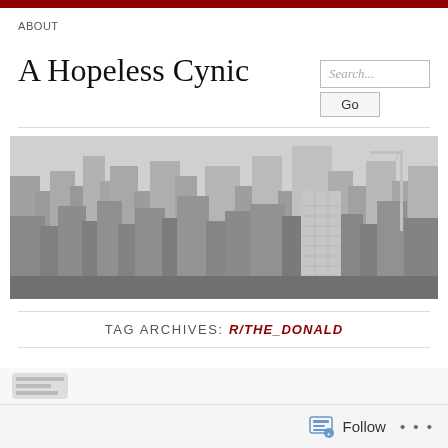ABOUT
A Hopeless Cynic
[Figure (photo): Black and white aerial photograph of a dense urban skyline with skyscrapers]
TAG ARCHIVES: R/THE_DONALD
Follow ...